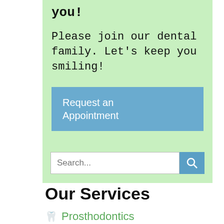you!
Please join our dental family. Let's keep you smiling!
Request an Appointment
[Figure (screenshot): Search input box with search button]
Our Services
Prosthodontics